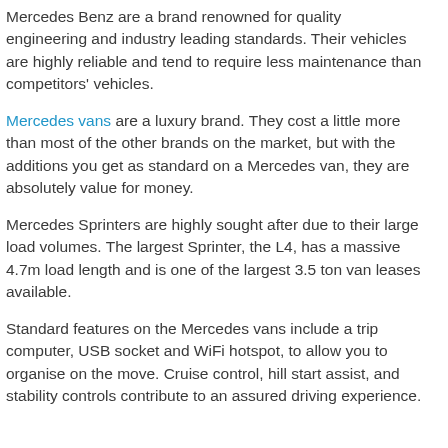Mercedes Benz are a brand renowned for quality engineering and industry leading standards. Their vehicles are highly reliable and tend to require less maintenance than competitors' vehicles.
Mercedes vans are a luxury brand. They cost a little more than most of the other brands on the market, but with the additions you get as standard on a Mercedes van, they are absolutely value for money.
Mercedes Sprinters are highly sought after due to their large load volumes. The largest Sprinter, the L4, has a massive 4.7m load length and is one of the largest 3.5 ton van leases available.
Standard features on the Mercedes vans include a trip computer, USB socket and WiFi hotspot, to allow you to organise on the move. Cruise control, hill start assist, and stability controls contribute to an assured driving experience.